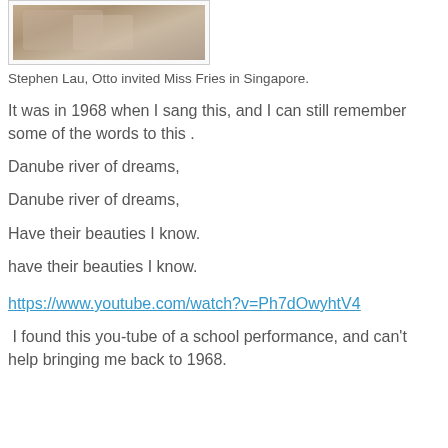[Figure (photo): Partial photo showing people at a table in Singapore]
Stephen Lau, Otto invited Miss Fries in Singapore.
It was in 1968 when I sang this, and I can still remember some of the words to this .
Danube river of dreams,
Danube river of dreams,
Have their beauties I know.
have their beauties I know.
https://www.youtube.com/watch?v=Ph7dOwyhtV4
I found this you-tube of a school performance, and can't help bringing me back to 1968.